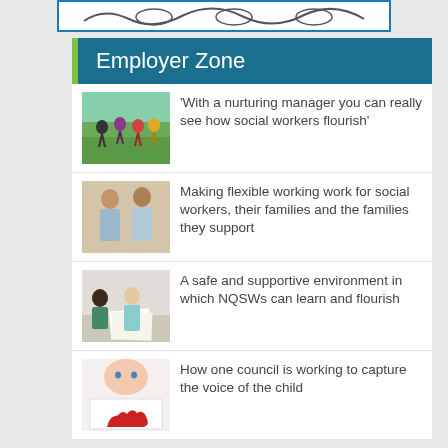[Figure (screenshot): Top banner with logo/navigation bar, white background with blue border]
Employer Zone
[Figure (photo): Children running outdoors in a park]
'With a nurturing manager you can really see how social workers flourish'
[Figure (photo): Two men standing together in an office or workspace]
Making flexible working work for social workers, their families and the families they support
[Figure (photo): People working at a desk, collaborative office setting]
A safe and supportive environment in which NQSWs can learn and flourish
[Figure (photo): Child holding a Welsh dragon drawing]
How one council is working to capture the voice of the child